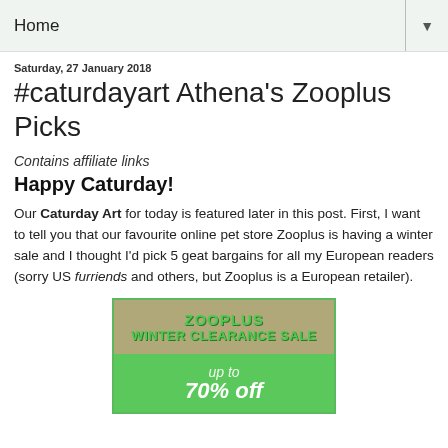Home ▼
Saturday, 27 January 2018
#caturdayart Athena's Zooplus Picks
Contains affiliate links
Happy Caturday!
Our Caturday Art for today is featured later in this post. First, I want to tell you that our favourite online pet store Zooplus is having a winter sale and I thought I'd pick 5 geat bargains for all my European readers (sorry US furriends and others, but Zooplus is a European retailer).
[Figure (illustration): Zooplus Winter Clearance Sale advertisement banner with text 'ZOOPLUS WINTER CLEARANCE SALE up to 70% off' on a green background]